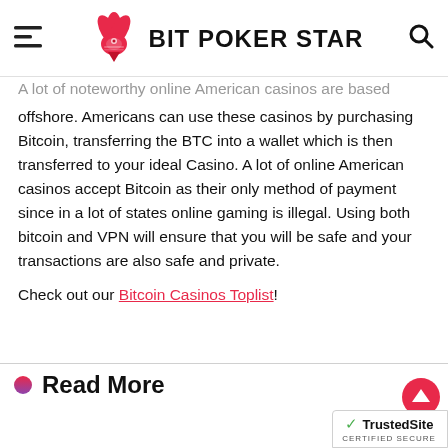[Figure (logo): Bit Poker Star logo header with hamburger menu icon on left, red card/fox logo in center, BIT POKER STAR text in bold, and search icon on right]
A lot of noteworthy online American casinos are based offshore. Americans can use these casinos by purchasing Bitcoin, transferring the BTC into a wallet which is then transferred to your ideal Casino. A lot of online American casinos accept Bitcoin as their only method of payment since in a lot of states online gaming is illegal. Using both bitcoin and VPN will ensure that you will be safe and your transactions are also safe and private.
Check out our Bitcoin Casinos Toplist!
Read More